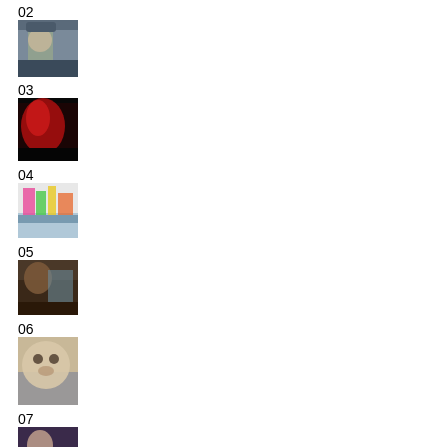02
[Figure (photo): A person wearing a cap, possibly at an outdoor event]
03
[Figure (photo): A red-toned scene, possibly a performer or person in red light/smoke]
04
[Figure (photo): A colorful store or market scene with products on display]
05
[Figure (photo): A person or animal in an interior setting]
06
[Figure (photo): A fluffy cat or small animal, beige/cream colored]
07
[Figure (photo): A person at what appears to be an event or gathering]